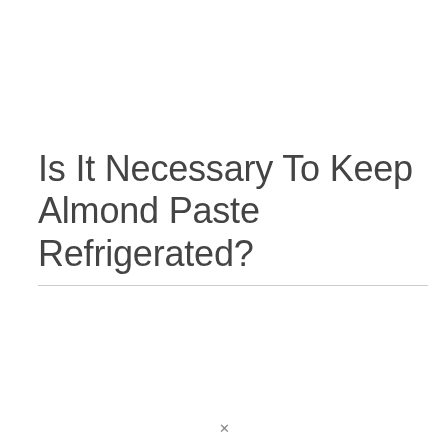Is It Necessary To Keep Almond Paste Refrigerated?